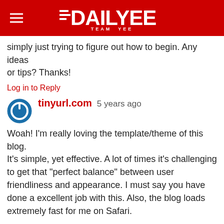DAILYEE - TEAM YEE
simply just trying to figure out how to begin. Any ideas
or tips? Thanks!
Log in to Reply
tinyurl.com  5 years ago
Woah! I’m really loving the template/theme of this blog.
It’s simple, yet effective. A lot of times it’s challenging to get that “perfect balance” between user friendliness and appearance. I must say you have done a excellent job with this. Also, the blog loads extremely fast for me on Safari.

Exceptional Blog!
Log in to Reply